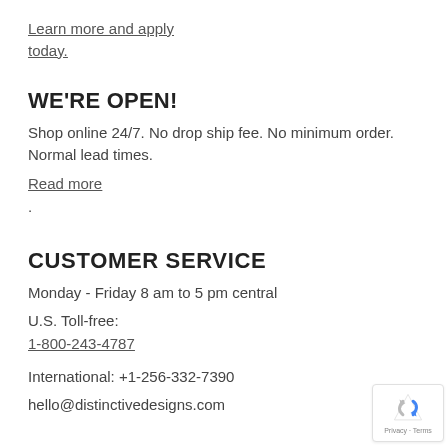Learn more and apply today.
WE'RE OPEN!
Shop online 24/7. No drop ship fee. No minimum order. Normal lead times.
Read more
.
CUSTOMER SERVICE
Monday - Friday 8 am to 5 pm central
U.S. Toll-free:
1-800-243-4787
International: +1-256-332-7390
hello@distinctivedesigns.com